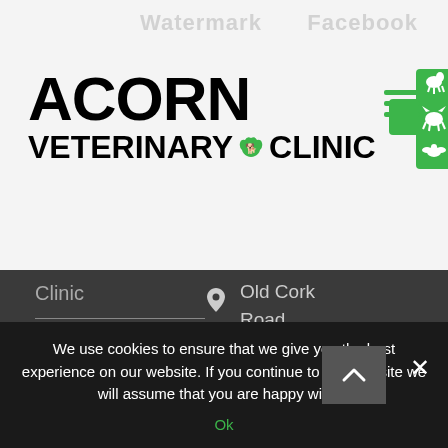Watermark | Facebook
[Figure (logo): Acorn Veterinary Clinic logo with green cross and animal silhouettes]
Clinic
Old Cork Road, Mallow, Co. Cork
022 43862
Mon-Fri: 9:00 – 6:00
Large and small...
We use cookies to ensure that we give you the best experience on our website. If you continue to use this site we will assume that you are happy with it.
Ok